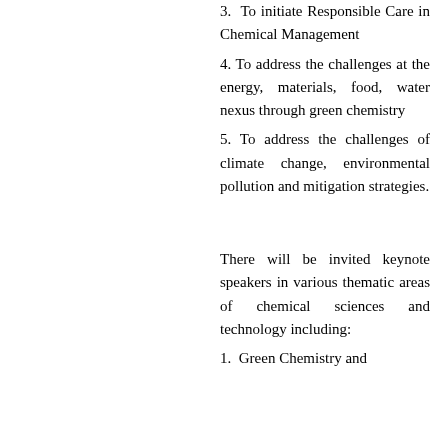3. To initiate Responsible Care in Chemical Management
4. To address the challenges at the energy, materials, food, water nexus through green chemistry
5. To address the challenges of climate change, environmental pollution and mitigation strategies.
There will be invited keynote speakers in various thematic areas of chemical sciences and technology including:
1. Green Chemistry and